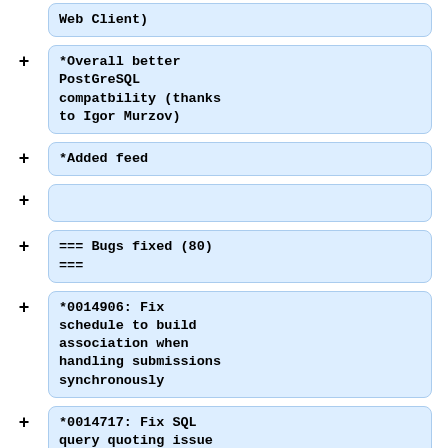Web Client)
*Overall better PostGreSQL compatbility (thanks to Igor Murzov)
*Added feed
=== Bugs fixed (80) ===
*0014906: Fix schedule to build association when handling submissions synchronously
*0014717: Fix SQL query quoting issue introduced in r3432